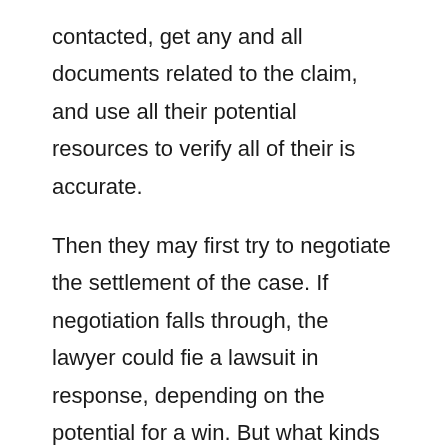contacted, get any and all documents related to the claim, and use all their potential resources to verify all of their is accurate.
Then they may first try to negotiate the settlement of the case. If negotiation falls through, the lawyer could fie a lawsuit in response, depending on the potential for a win. But what kinds of cases does a personal injury attorney take on?
The PIL generally takes a large variety of